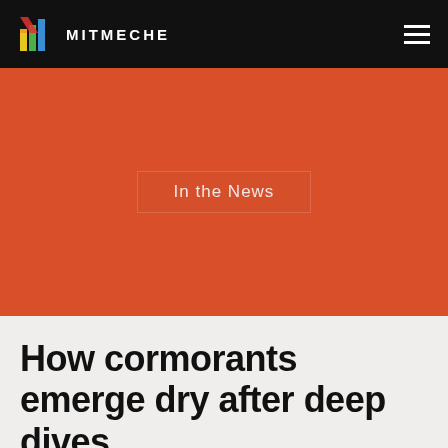MITMECHE
[Figure (logo): MIT MechE logo with colorful bar chart style icon and MITMECHE text in white on black navigation bar]
In the News
How cormorants emerge dry after deep dives